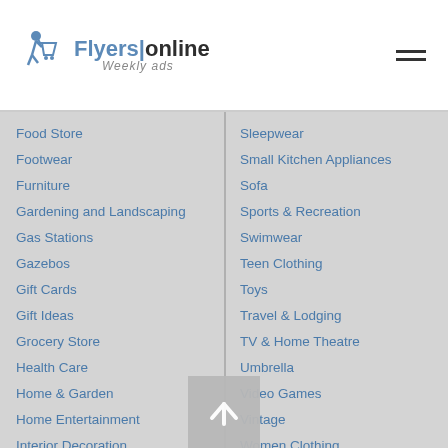FlyersOnline Weekly ads
Food Store
Footwear
Furniture
Gardening and Landscaping
Gas Stations
Gazebos
Gift Cards
Gift Ideas
Grocery Store
Health Care
Home & Garden
Home Entertainment
Interior Decoration
Sleepwear
Small Kitchen Appliances
Sofa
Sports & Recreation
Swimwear
Teen Clothing
Toys
Travel & Lodging
TV & Home Theatre
Umbrella
Video Games
Vintage
Women Clothing